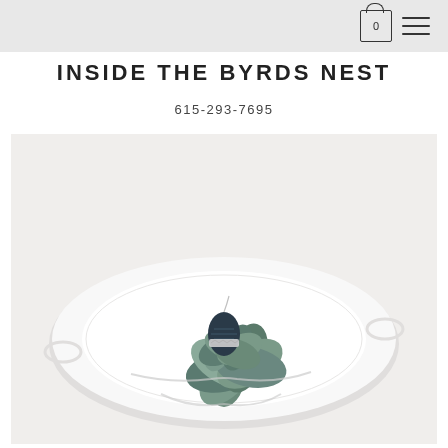Navigation header with cart icon (0) and menu icon
INSIDE THE BYRDS NEST
615-293-7695
[Figure (photo): A succulent plant placed in the center of a white ceramic plate, with a small decorative crystal or stone nestled in the middle of the succulent leaves. The plate and plant are photographed from a slightly elevated angle on a white background.]